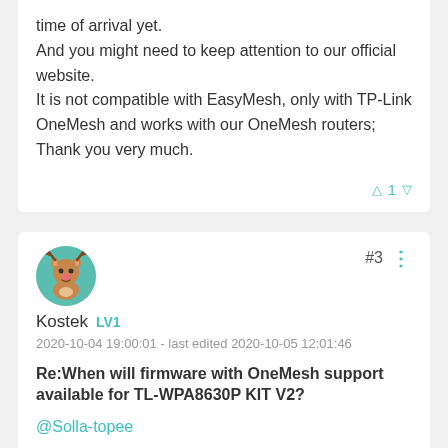time of arrival yet.
And you might need to keep attention to our official website.
It is not compatible with EasyMesh, only with TP-Link OneMesh and works with our OneMesh routers;
Thank you very much.
△ 1 ▽
[Figure (illustration): Circular avatar with a cartoon reindeer illustration on teal/green background]
#3 ⋮
Kostek  LV1
2020-10-04 19:00:01 - last edited 2020-10-05 12:01:46
Re:When will firmware with OneMesh support available for TL-WPA8630P KIT V2?
@Solla-topee